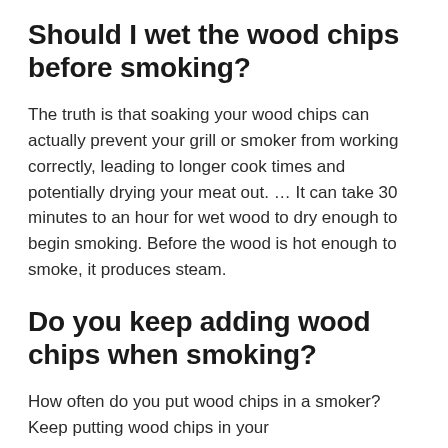Should I wet the wood chips before smoking?
The truth is that soaking your wood chips can actually prevent your grill or smoker from working correctly, leading to longer cook times and potentially drying your meat out. … It can take 30 minutes to an hour for wet wood to dry enough to begin smoking. Before the wood is hot enough to smoke, it produces steam.
Do you keep adding wood chips when smoking?
How often do you put wood chips in a smoker? Keep putting wood chips in your